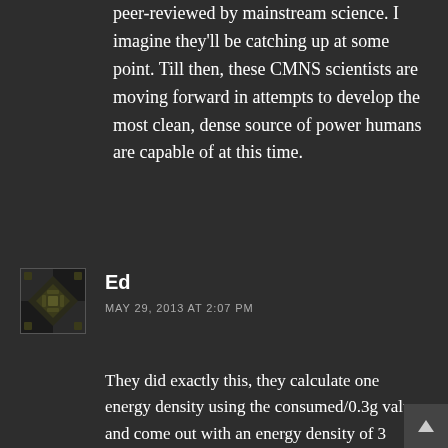peer-reviewed by mainstream science. I imagine they'll be catching up at some point. Till then, these CMNS scientists are moving forward in attempts to develop the most clean, dense source of power humans are capable of at this time.
Ed
MAY 29, 2013 AT 2:07 PM
They did exactly this, they calculate one energy density using the consumed/0.3g value and come out with an energy density of 3 orders of magnitude above chemical and then they provide a lower limit by considering the entire mass of the cylinder (walls and all!) and come up with an energy density 1 order of magnitude